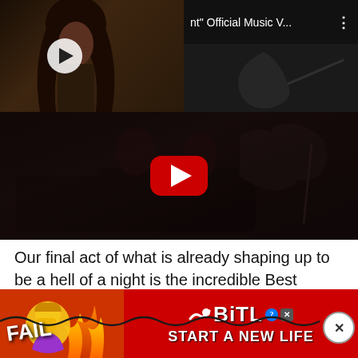ed arms and smiling faces.
[Figure (screenshot): Small video thumbnail showing a person with long dark hair, with a circular white play button overlaid. Next to it a dark title bar showing 'nt" Official Music V...' with three dots menu icon.]
[Figure (screenshot): Large YouTube video embed with dark background showing people in a room, with the red YouTube play button centered.]
Our final act of what is already shaping up to be a hell of a night is the incredible Best Friends. We have been big fans of the band for a long time and couldn't be ... to our headli...
[Figure (screenshot): Advertisement banner for BitLife game with red background, FAIL text on left side, wavy line, and 'START A NEW LIFE' text with BitLife logo on right.]